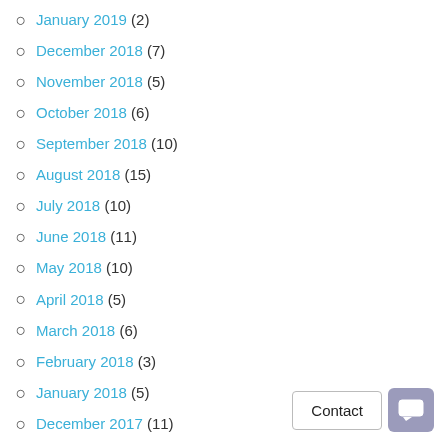January 2019 (2)
December 2018 (7)
November 2018 (5)
October 2018 (6)
September 2018 (10)
August 2018 (15)
July 2018 (10)
June 2018 (11)
May 2018 (10)
April 2018 (5)
March 2018 (6)
February 2018 (3)
January 2018 (5)
December 2017 (11)
November 2017 (10)
October 2017 (10)
September 2017 (12)
August 2017 (21)
July 2017 (8)